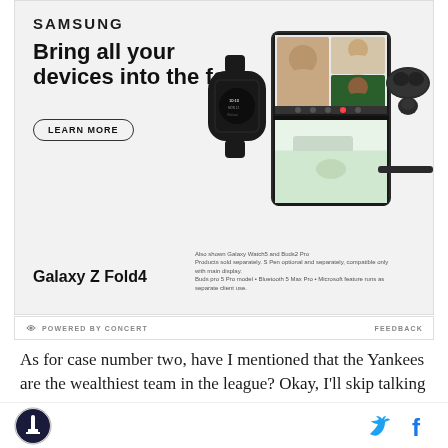[Figure (advertisement): Samsung Galaxy Z Fold4 advertisement. Shows headline 'Bring all your devices into the fold', LEARN MORE button, images of Galaxy Watch5, Galaxy Z Fold4 showing video call, earbuds case, and stylus. Also shown Galaxy Watch5 and Buds2 Pro disclaimer text. 'Galaxy Z Fold4' product label at bottom.]
POWERED BY CONCERT   FEEDBACK
As for case number two, have I mentioned that the Yankees are the wealthiest team in the league? Okay, I'll skip talking about that again, but any discussion of Judge's extension brings us to a whole new point: